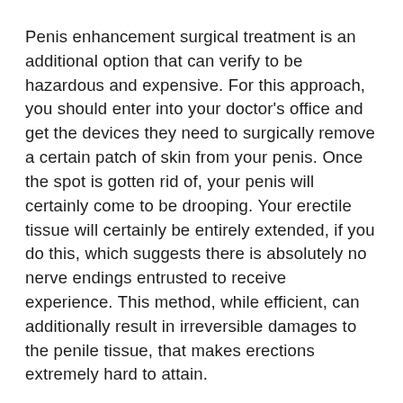Penis enhancement surgical treatment is an additional option that can verify to be hazardous and expensive. For this approach, you should enter into your doctor's office and get the devices they need to surgically remove a certain patch of skin from your penis. Once the spot is gotten rid of, your penis will certainly come to be drooping. Your erectile tissue will certainly be entirely extended, if you do this, which suggests there is absolutely no nerve endings entrusted to receive experience. This method, while efficient, can additionally result in irreversible damages to the penile tissue, that makes erections extremely hard to attain.